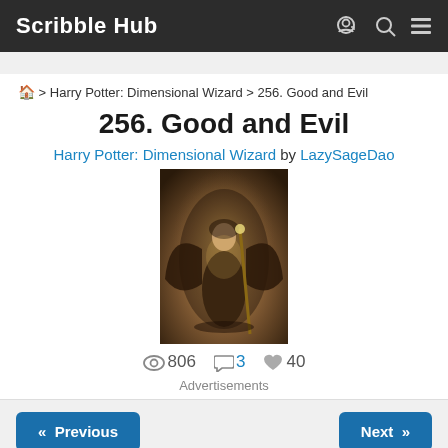Scribble Hub
🏠 > Harry Potter: Dimensional Wizard > 256. Good and Evil
256. Good and Evil
Harry Potter: Dimensional Wizard by LazySageDao
[Figure (illustration): Fantasy book cover illustration showing a robed figure with wings or a large cloak in a dramatic dark setting with warm light.]
👁 806   💬 3   ♥ 40
Advertisements
« Previous
Next »
Edward's current idea is to create a planet-size Transmutation Circle that does the same thing as the